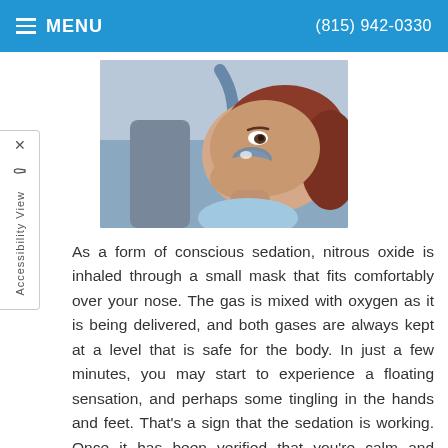MENU   (815) 942-0330
[Figure (photo): A patient reclined in a dental chair with a nitrous oxide mask placed over their nose, administered by a dental professional. The patient has red/auburn hair and is looking upward.]
As a form of conscious sedation, nitrous oxide is inhaled through a small mask that fits comfortably over your nose. The gas is mixed with oxygen as it is being delivered, and both gases are always kept at a level that is safe for the body. In just a few minutes, you may start to experience a floating sensation, and perhaps some tingling in the hands and feet. That's a sign that the sedation is working. Once it has been verified that you're calm and comfortable, and that the dose is correct, your dental procedure can begin.